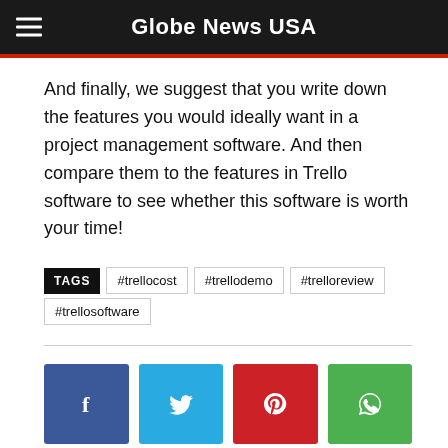Globe News USA
And finally, we suggest that you write down the features you would ideally want in a project management software. And then compare them to the features in Trello software to see whether this software is worth your time!
TAGS  #trellocost  #trellodemo  #trelloreview  #trellosoftware
[Figure (other): Social sharing buttons: Facebook (blue), Twitter (light blue), Pinterest (red), WhatsApp (green)]